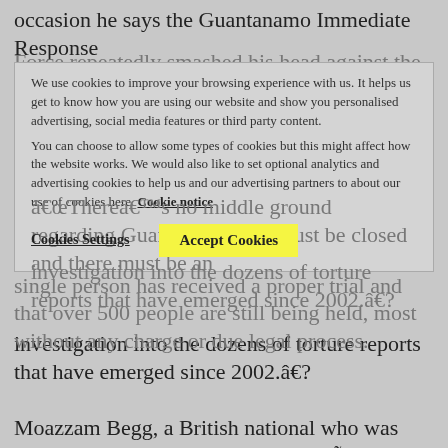occasion he says the Guantanamo Immediate Response Force repeatedly smashed his head against the floor until he lost consciousness.
Amnesty International UK Campaigns Director Stephen Bowen said:
â€œIt is shocking that four years after the first prisoners were taken to GuantÃ¡namo not a single person has received a proper trial and that over 500 people are still being held, most without any charge or due legal process.
We use cookies to improve your browsing experience with us. It helps us get to know how you are using our website and show you personalised advertising, social media features or third party content. You can choose to allow some types of cookies but this might affect how the website works. We would also like to set optional analytics and advertising cookies to help us and our advertising partners to about our use of cookies here. Cookie notice
Cookies Settings
Accept Cookies
â€œThereâ€™s no middle ground regarding GuantÃ¡namo. It must be closed and there must be an investigation into the dozens of torture reports that have emerged since 2002.â€?
Moazzam Begg, a British national who was released without charge from GuantÃ¡namo in January 2005, has also spoken out today, issuing fresh condemnation of the